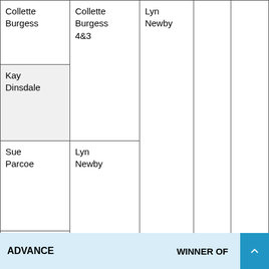| Col1 | Col2 | Col3 | Col4 | Col5 |
| --- | --- | --- | --- | --- |
| Collette Burgess | Collette Burgess 4&3 |  |  |  |
| Kay Dinsdale |  |  |  |  |
| Sue Parcoe | Lyn Newby | Lyn Newby |  |  |
| Lyn Newby |  |  |  |  |
| Debbie Cain | Dawn Emmerson |  |  |  |
| Dawn Emmerson |  |  |  |  |
ADVANCE    WINNER OF